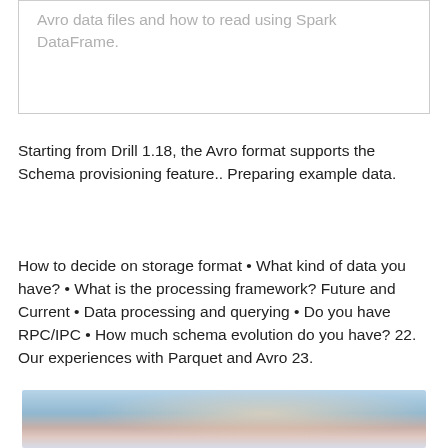Avro data files and how to read using Spark DataFrame.
Starting from Drill 1.18, the Avro format supports the Schema provisioning feature.. Preparing example data.
How to decide on storage format • What kind of data you have? • What is the processing framework? Future and Current • Data processing and querying • Do you have RPC/IPC • How much schema evolution do you have? 22. Our experiences with Parquet and Avro 23.
[Figure (photo): Sky photo with clouds and warm tones at the bottom of the page]